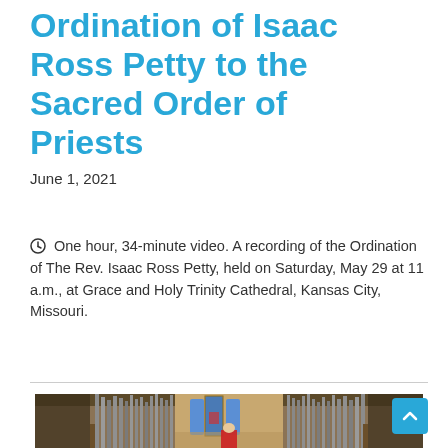Ordination of Isaac Ross Petty to the Sacred Order of Priests
June 1, 2021
One hour, 34-minute video. A recording of the Ordination of The Rev. Isaac Ross Petty, held on Saturday, May 29 at 11 a.m., at Grace and Holy Trinity Cathedral, Kansas City, Missouri.
[Figure (photo): Interior of Grace and Holy Trinity Cathedral, Kansas City, Missouri, showing pipe organ, stained glass windows, and altar area.]